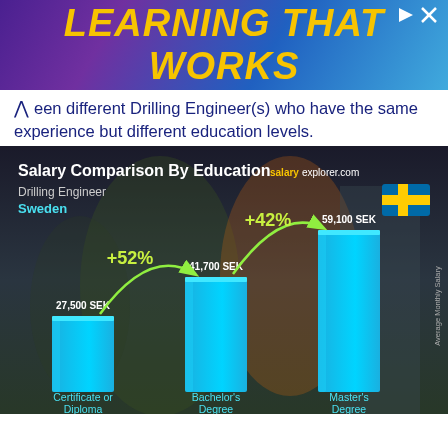[Figure (infographic): Learning That Works advertisement banner with yellow italic text on purple-blue gradient background]
een different Drilling Engineer(s) who have the same experience but different education levels.
[Figure (bar-chart): Salary Comparison By Education]